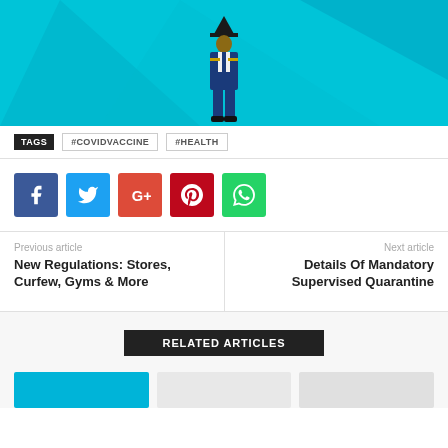[Figure (photo): Banner image with a person dressed in a historical military-style costume centered on a cyan/teal gradient background]
TAGS   #COVIDVACCINE   #HEALTH
[Figure (infographic): Social share buttons row: Facebook (blue), Twitter (light blue), Google+ (red-orange), Pinterest (dark red), WhatsApp (green)]
Previous article
New Regulations: Stores, Curfew, Gyms & More
Next article
Details Of Mandatory Supervised Quarantine
RELATED ARTICLES
[Figure (photo): Row of article thumbnail images at the bottom]